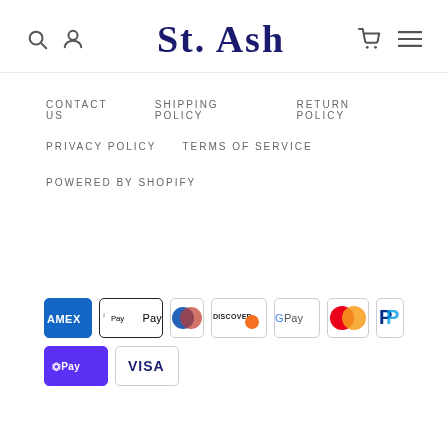St. Ash
CONTACT US
SHIPPING POLICY
RETURN POLICY
PRIVACY POLICY
TERMS OF SERVICE
POWERED BY SHOPIFY
[Figure (other): Payment method logos: American Express, Apple Pay, Diners Club, Discover, Google Pay, Mastercard, PayPal, Shop Pay, Visa]